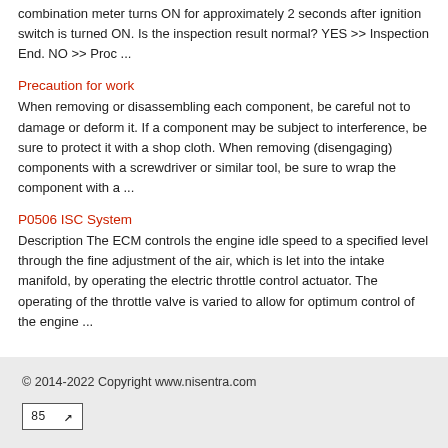combination meter turns ON for approximately 2 seconds after ignition switch is turned ON. Is the inspection result normal? YES >> Inspection End. NO >> Proc ...
Precaution for work
When removing or disassembling each component, be careful not to damage or deform it. If a component may be subject to interference, be sure to protect it with a shop cloth. When removing (disengaging) components with a screwdriver or similar tool, be sure to wrap the component with a ...
P0506 ISC System
Description The ECM controls the engine idle speed to a specified level through the fine adjustment of the air, which is let into the intake manifold, by operating the electric throttle control actuator. The operating of the throttle valve is varied to allow for optimum control of the engine ...
© 2014-2022 Copyright www.nisentra.com